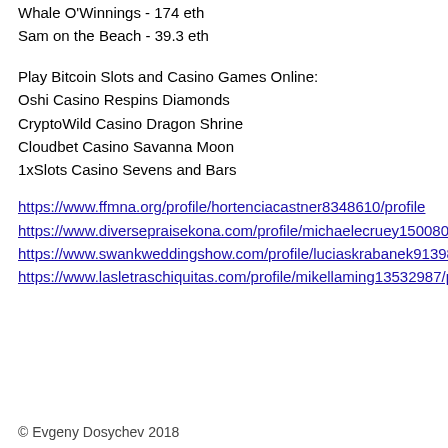Whale O'Winnings - 174 eth
Sam on the Beach - 39.3 eth
Play Bitcoin Slots and Casino Games Online:
Oshi Casino Respins Diamonds
CryptoWild Casino Dragon Shrine
Cloudbet Casino Savanna Moon
1xSlots Casino Sevens and Bars
https://www.ffmna.org/profile/hortenciacastner8348610/profile https://www.diversepraisekona.com/profile/michaelecruey1500808/profile https://www.swankweddingshow.com/profile/luciaskrabanek9139891/profile https://www.lasletraschiquitas.com/profile/mikellaming13532987/profile
© Evgeny Dosychev 2018